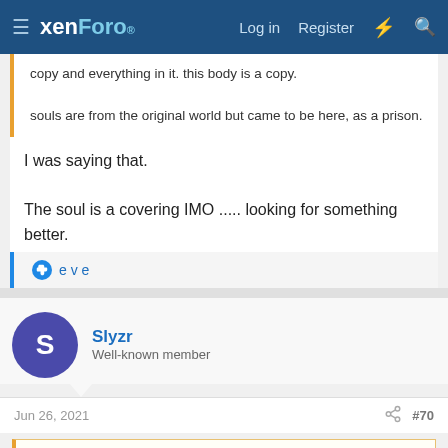xenForo | Log in | Register
copy and everything in it. this body is a copy.

souls are from the original world but came to be here, as a prison.
I was saying that.

The soul is a covering IMO ..... looking for something better.
👍 e v e
Slyzr
Well-known member
Jun 26, 2021  #70
e v e said:
to a follower of this world and its gods, this body and earth and natural mind are primary and the soul hated as inferior.